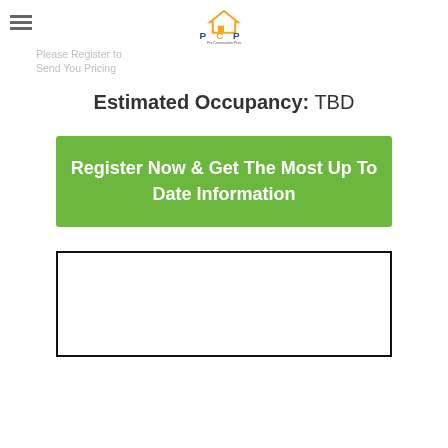Pre Construction Pros logo with hamburger menu
Please Register to Send You Pricing
Estimated Occupancy: TBD
Register Now & Get The Most Up To Date Information
[Figure (other): Empty white bordered form box]